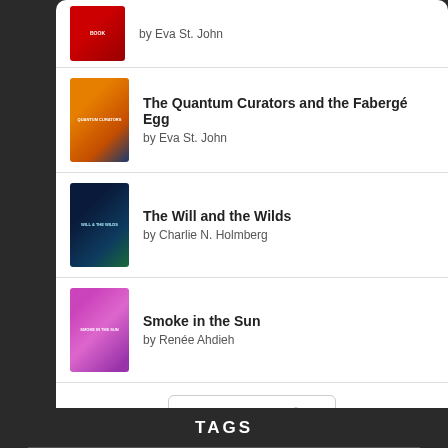[Figure (illustration): Book cover - partial view at top, red cover]
by Eva St. John
[Figure (illustration): Book cover - The Quantum Curators and the Fabergé Egg, orange and blue cover]
The Quantum Curators and the Fabergé Egg
by Eva St. John
[Figure (illustration): Book cover - The Will and the Wilds, dark blue/green cover]
The Will and the Wilds
by Charlie N. Holmberg
[Figure (illustration): Book cover - Smoke in the Sun, pink/purple cover]
Smoke in the Sun
by Renée Ahdieh
[Figure (logo): goodreads button/logo]
TAGS